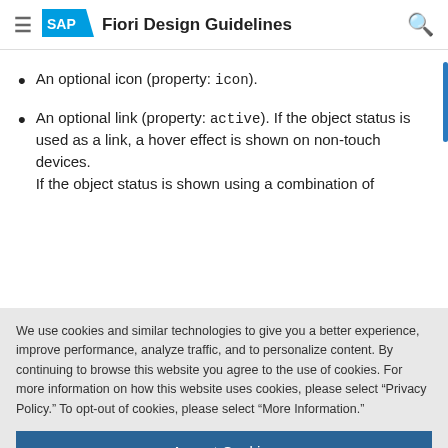SAP Fiori Design Guidelines
An optional icon (property: icon).
An optional link (property: active). If the object status is used as a link, a hover effect is shown on non-touch devices. If the object status is shown using a combination of
We use cookies and similar technologies to give you a better experience, improve performance, analyze traffic, and to personalize content. By continuing to browse this website you agree to the use of cookies. For more information on how this website uses cookies, please select “Privacy Policy.” To opt-out of cookies, please select “More Information.”
Accept Cookies
More Information
Privacy Policy | Powered by: TrustArc
Positive Status